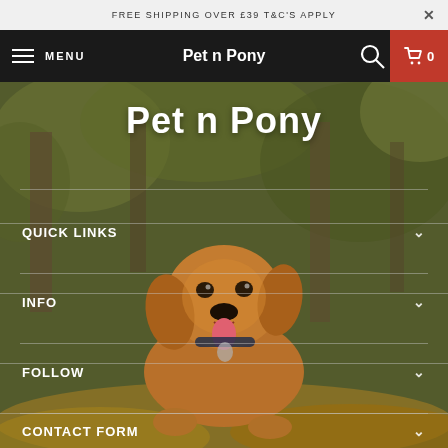FREE SHIPPING OVER £39 T&C'S APPLY
Pet n Pony — MENU, search, cart 0
[Figure (photo): Golden retriever dog in autumn leaves forest background with Pet n Pony logo overlay]
Pet n Pony
QUICK LINKS
INFO
FOLLOW
CONTACT FORM
Twitter, Facebook, Instagram, Email social icons